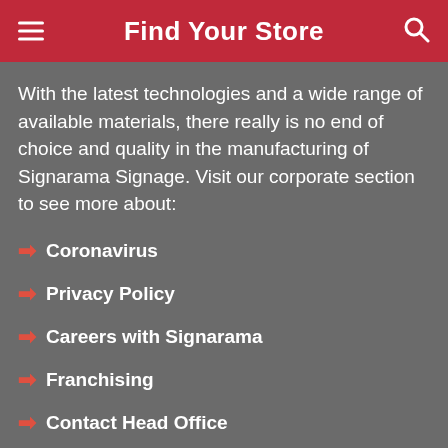Find Your Store
With the latest technologies and a wide range of available materials, there really is no end of choice and quality in the manufacturing of Signarama Signage. Visit our corporate section to see more about:
Coronavirus
Privacy Policy
Careers with Signarama
Franchising
Contact Head Office
Core Values
About Signarama
[Figure (logo): reCAPTCHA logo badge with Privacy and Terms text]